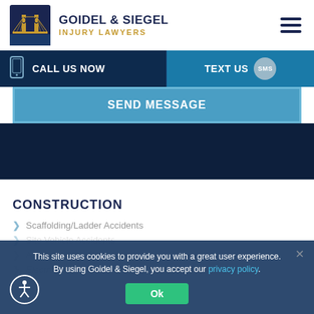[Figure (logo): Goidel & Siegel Injury Lawyers logo with Brooklyn Bridge illustration and firm name]
[Figure (infographic): Call Us Now / Text Us contact bar with phone icon and SMS bubble]
SEND MESSAGE
[Figure (photo): Dark navy background section]
CONSTRUCTION
Scaffolding/Ladder Accidents
Site Vehicle Accidents
Asbestos/Toxic Exposure
Electrocution Accidents
This site uses cookies to provide you with a great user experience. By using Goidel & Siegel, you accept our privacy policy.
Ok